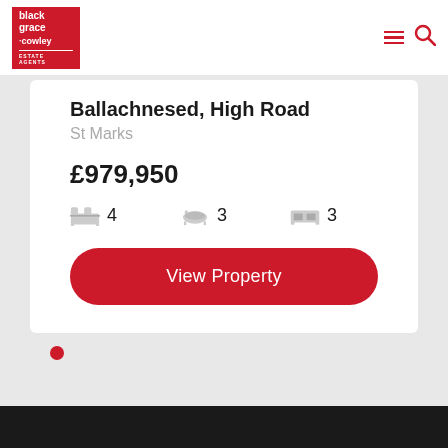[Figure (logo): Black Grace Cowley Estate Agents red square logo]
Ballachnesed, High Road
St Marks
£979,950
4 bedrooms, 3 bathrooms, 3 reception rooms
View Property